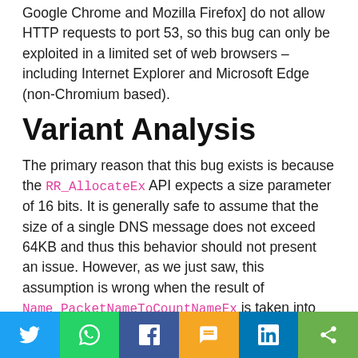Google Chrome and Mozilla Firefox] do not allow HTTP requests to port 53, so this bug can only be exploited in a limited set of web browsers – including Internet Explorer and Microsoft Edge (non-Chromium based).
Variant Analysis
The primary reason that this bug exists is because the RR_AllocateEx API expects a size parameter of 16 bits. It is generally safe to assume that the size of a single DNS message does not exceed 64KB and thus this behavior should not present an issue. However, as we just saw, this assumption is wrong when the result of Name_PacketNameToCountNameEx is taken into
[Figure (other): Social sharing bar at the bottom with Twitter, WhatsApp, Facebook, SMS, LinkedIn, and Share buttons]